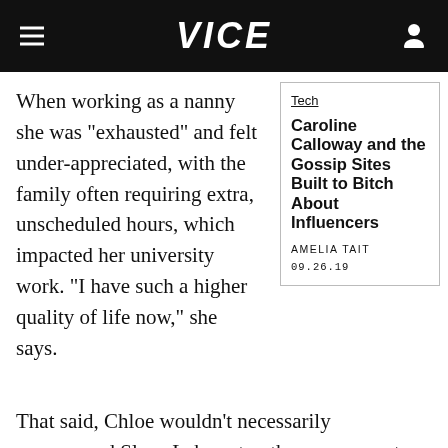VICE
When working as a nanny she was "exhausted" and felt under-appreciated, with the family often requiring extra, unscheduled hours, which impacted her university work. "I have such a higher quality of life now," she says.
Tech
Caroline Calloway and the Gossip Sites Built to Bitch About Influencers
AMELIA TAIT
09.26.19
That said, Chloe wouldn't necessarily recommend Slave Labour to others as a way to